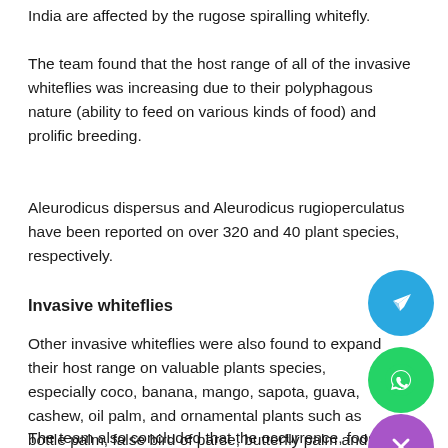India are affected by the rugose spiralling whitefly.
The team found that the host range of all of the invasive whiteflies was increasing due to their polyphagous nature (ability to feed on various kinds of food) and prolific breeding.
Aleurodicus dispersus and Aleurodicus rugioperculatus have been reported on over 320 and 40 plant species, respectively.
Invasive whiteflies
Other invasive whiteflies were also found to expand their host range on valuable plants species, especially coco, banana, mango, sapota, guava, cashew, oil palm, and ornamental plants such as bottle palm, false bird of paradise, butterfly palm and important medicinal plants.
The team also concluded that the occurrence, food and